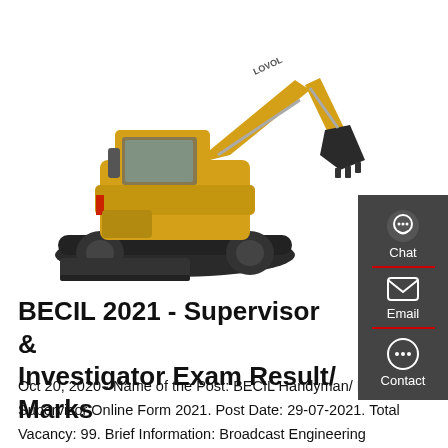[Figure (photo): Yellow LOVOL mini excavator with black bucket, tracked, on white background]
BECIL 2021 - Supervisor & Investigator Exam Result/ Marks
Oct 20, 2020 · Name of the Post: BECIL Handyman/ Loader, Supervisor Online Form 2021. Post Date: 29-07-2021. Total Vacancy: 99. Brief Information: Broadcast Engineering Consultants India Limited (BECIL) has Published a Notification